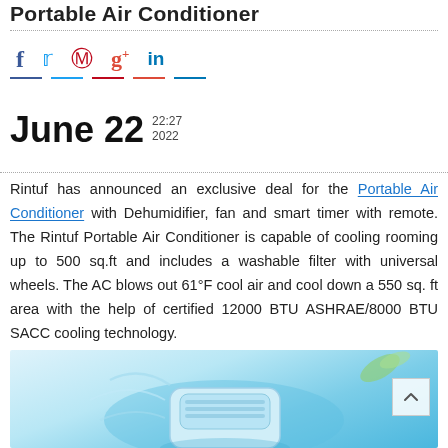Portable Air Conditioner
June 22  22:27 2022
Rintuf has announced an exclusive deal for the Portable Air Conditioner with Dehumidifier, fan and smart timer with remote. The Rintuf Portable Air Conditioner is capable of cooling rooming up to 500 sq.ft and includes a washable filter with universal wheels. The AC blows out 61°F cool air and cool down a 550 sq. ft area with the help of certified 12000 BTU ASHRAE/8000 BTU SACC cooling technology.
[Figure (photo): Photo of a portable air conditioner unit with blue/teal tones and decorative leaf elements]